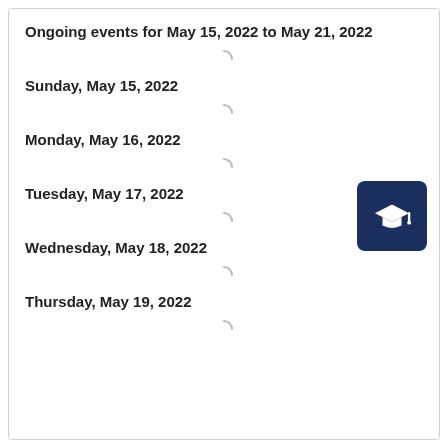Ongoing events for May 15, 2022 to May 21, 2022
Sunday, May 15, 2022
Monday, May 16, 2022
Tuesday, May 17, 2022
[Figure (illustration): Dark navy blue rounded square icon with a white graduation cap (mortarboard) symbol]
Wednesday, May 18, 2022
Thursday, May 19, 2022